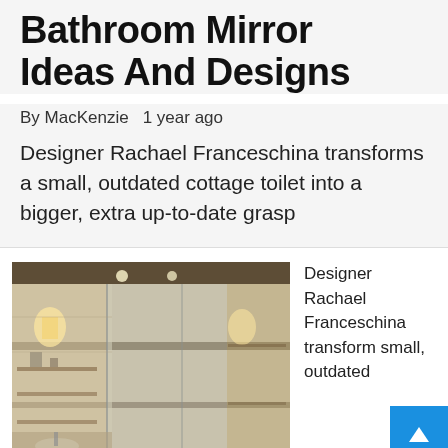Bathroom Mirror Ideas And Designs
By MacKenzie   1 year ago
Designer Rachael Franceschina transforms a small, outdated cottage toilet into a bigger, extra up-to-date grasp
[Figure (photo): Interior photo of a modern bathroom with beige tile walls, glass shower enclosure, wall sconces, and dark accent trim]
Designer Rachael Franceschina transform small, outdated